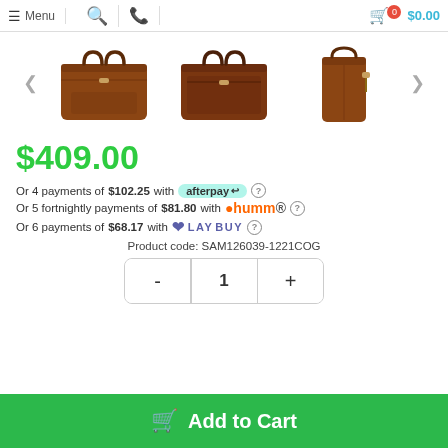Menu | Search | Phone | Cart $0.00
[Figure (photo): Three views of a brown leather briefcase/laptop bag: front view, back view, and side view]
$409.00
Or 4 payments of $102.25 with afterpay
Or 5 fortnightly payments of $81.80 with humm
Or 6 payments of $68.17 with LAYBUY
Product code: SAM126039-1221COG
- 1 +
Add to Cart